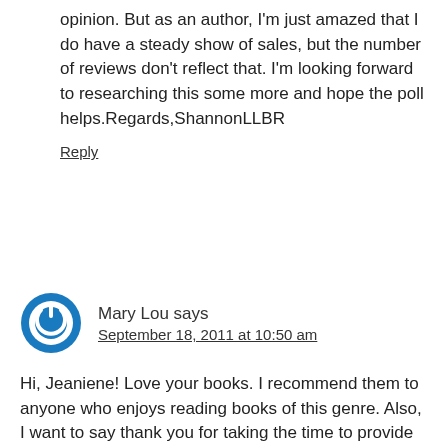opinion. But as an author, I'm just amazed that I do have a steady show of sales, but the number of reviews don't reflect that. I'm looking forward to researching this some more and hope the poll helps.Regards,ShannonLLBR
Reply
Mary Lou says
September 18, 2011 at 10:50 am
Hi, Jeaniene! Love your books. I recommend them to anyone who enjoys reading books of this genre. Also, I want to say thank you for taking the time to provide advice to writers who are trying to become published authors. As one of those writers, I find the query letter to be the most challenging. It has left me more lost than my mom without a GPS. Who would have thought that